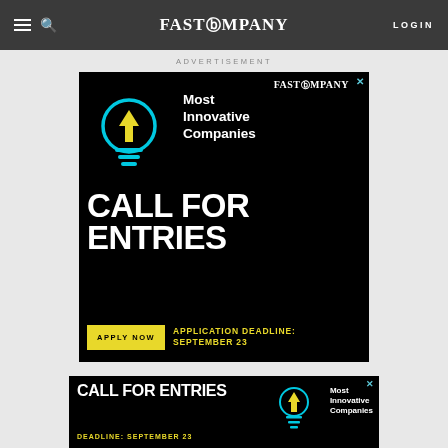FAST COMPANY — LOGIN
ADVERTISEMENT
[Figure (illustration): Fast Company Most Innovative Companies Call For Entries advertisement. Black background with cyan/yellow lightbulb icon, text 'Most Innovative Companies', large white bold text 'CALL FOR ENTRIES', yellow 'APPLY NOW' button and yellow text 'APPLICATION DEADLINE: SEPTEMBER 23'.]
[Figure (illustration): Bottom banner ad: Fast Company Most Innovative Companies Call For Entries. Black background, white bold 'CALL FOR ENTRIES', yellow 'DEADLINE: SEPTEMBER 23', lightbulb icon on right, 'Most Innovative Companies' text.]